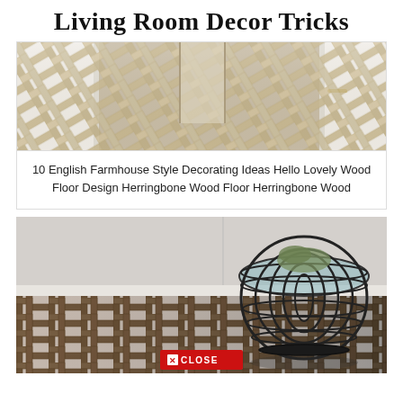Living Room Decor Tricks
[Figure (photo): Herringbone wood floor in a hallway with white cabinetry and gold hardware — top portion cropped]
10 English Farmhouse Style Decorating Ideas Hello Lovely Wood Floor Design Herringbone Wood Floor Herringbone Wood
[Figure (photo): Dark herringbone wood floor with a round black wire-frame side table topped with glass in a living room setting. A CLOSE button overlay appears at the bottom.]